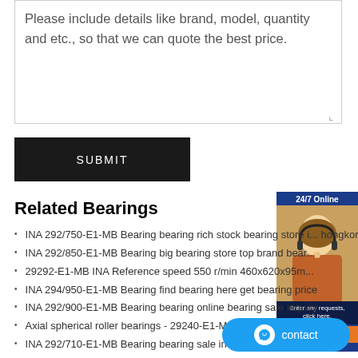Please include details like brand, model, quantity and etc., so that we can quote the best price.
SUBMIT
Related Bearings
INA 292/750-E1-MB Bearing bearing rich stock bearing store in hongkong
INA 292/850-E1-MB Bearing big bearing store top brand bear...
29292-E1-MB INA Reference speed 550 r/min 460x620x95m...
INA 294/950-E1-MB Bearing find bearing here get bearing price
INA 292/900-E1-MB Bearing bearing online bearing sale inquiry
Axial spherical roller bearings - 29240-E1-MB - 2D
INA 292/710-E1-MB Bearing bearing sale inquiry low noise bearing
29264-E1-MB FAG db max. 336 mm ... - Leader
INA 293/850-E1-MB Bearing specialized bearing best bearing supplier
29238-E1-MB INA db max. 203 mm 190x270x48m...
INA 29260-E1-MB Bearing bearing price size low...
INA 29392-E1-MB Large discount - INA Bearing - RAI